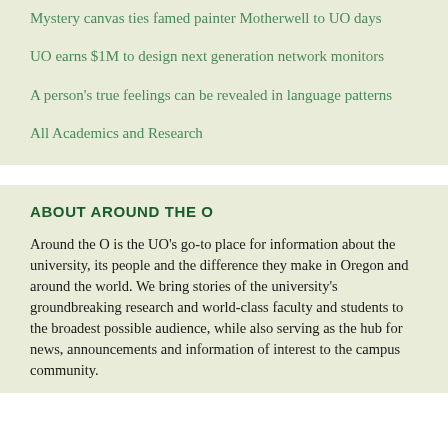Mystery canvas ties famed painter Motherwell to UO days
UO earns $1M to design next generation network monitors
A person's true feelings can be revealed in language patterns
All Academics and Research
ABOUT AROUND THE O
Around the O is the UO's go-to place for information about the university, its people and the difference they make in Oregon and around the world. We bring stories of the university's groundbreaking research and world-class faculty and students to the broadest possible audience, while also serving as the hub for news, announcements and information of interest to the campus community.